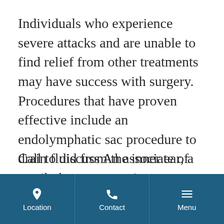Individuals who experience severe attacks and are unable to find relief from other treatments may have success with surgery. Procedures that have proven effective include an endolymphatic sac procedure to drain fluid from the inner ear, a vestibular nerve section to cut the nerve that connects the ear and brain to eliminate dizziness and preserve hearing, and a labyrinthectomy to control dizziness.
Call to discuss An associate of Hall beat
Location | Contact | Menu